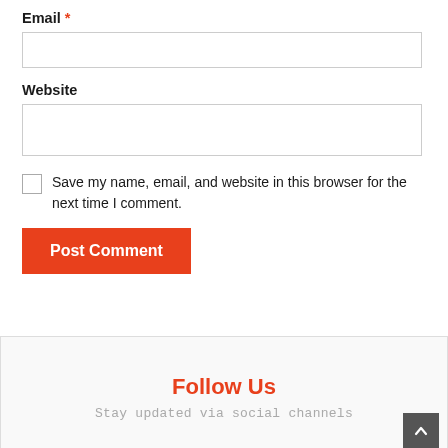Email *
Website
Save my name, email, and website in this browser for the next time I comment.
Post Comment
Follow Us
Stay updated via social channels